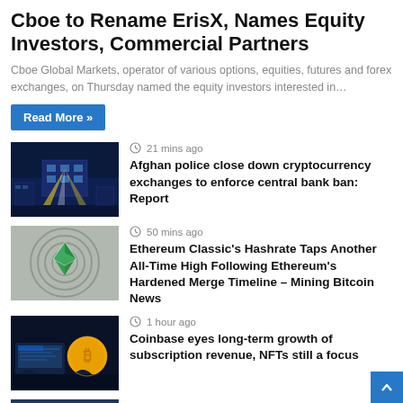Cboe to Rename ErisX, Names Equity Investors, Commercial Partners
Cboe Global Markets, operator of various options, equities, futures and forex exchanges, on Thursday named the equity investors interested in…
Read More »
[Figure (photo): Futuristic building with light beams, cryptocurrency exchange related image]
21 mins ago
Afghan police close down cryptocurrency exchanges to enforce central bank ban: Report
[Figure (photo): Ethereum Classic logo with circular wave background]
50 mins ago
Ethereum Classic's Hashrate Taps Another All-Time High Following Ethereum's Hardened Merge Timeline – Mining Bitcoin News
[Figure (photo): Coinbase themed image with Bitcoin coin and computer screens]
1 hour ago
Coinbase eyes long-term growth of subscription revenue, NFTs still a focus
[Figure (photo): Partial thumbnail visible at bottom of page]